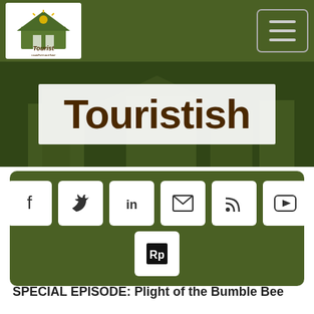[Figure (logo): TouristAM logo with building/mountain icon and script text]
[Figure (illustration): Hamburger menu icon (three horizontal lines) in rounded rectangle border]
Touristish
[Figure (infographic): Social media icon buttons: Facebook, Twitter, LinkedIn, Email/envelope, RSS, YouTube, and a small square icon with 'Rp' symbol, on dark green rounded rectangle background]
SPECIAL EPISODE: Plight of the Bumble Bee
TOURISTISH
SPECIAL EPISODE: Plight of the Bumble Bee